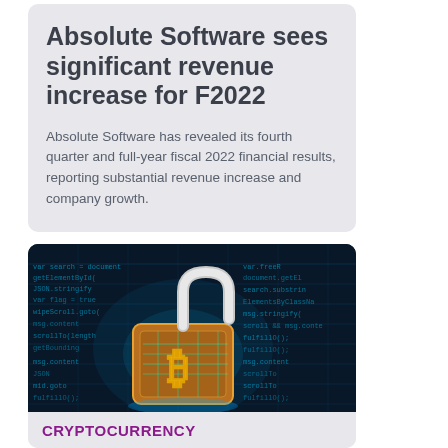Absolute Software sees significant revenue increase for F2022
Absolute Software has revealed its fourth quarter and full-year fiscal 2022 financial results, reporting substantial revenue increase and company growth.
[Figure (photo): A glowing bitcoin padlock on a dark blue circuit board background with code/text visible, symbolizing cryptocurrency security]
CRYPTOCURRENCY